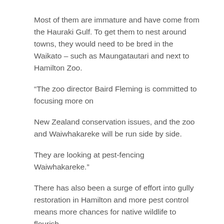Most of them are immature and have come from the Hauraki Gulf. To get them to nest around towns, they would need to be bred in the Waikato – such as Maungatautari and next to Hamilton Zoo.
“The zoo director Baird Fleming is committed to focusing more on
New Zealand conservation issues, and the zoo and Waiwhakareke will be run side by side.
They are looking at pest-fencing Waiwhakareke.”
There has also been a surge of effort into gully restoration in Hamilton and more pest control means more chances for native wildlife to flourish.
Numbers of suburban tui have boomed over the past 15 years but attracting kereru and korimako – the bell bird – out of rural settings and into the Hamilton, Cambridge and Te Awamutu has posed a puzzle.